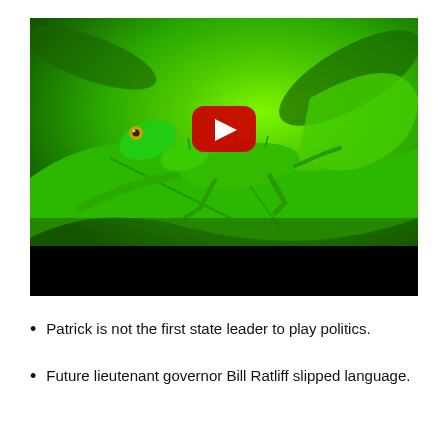[Figure (screenshot): A green iguana/lizard sitting on large green tropical leaves, with a YouTube play button (red rounded rectangle with white triangle) overlaid in the center. A black bar appears at the bottom of the video frame.]
Patrick is not the first state leader to play politics.
Future lieutenant governor Bill Ratliff slipped language.